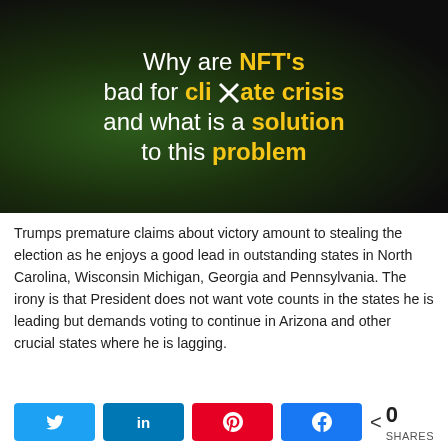[Figure (illustration): Dark thumbnail image with text overlay reading 'Why are NFT's bad for climate crisis and what is a solution to this problem' with highlighted yellow text on key terms, and a close/X button overlay in center]
Trumps premature claims about victory amount to stealing the election as he enjoys a good lead in outstanding states in North Carolina, Wisconsin Michigan, Georgia and Pennsylvania. The irony is that President does not want vote counts in the states he is leading but demands voting to continue in Arizona and other crucial states where he is lagging.